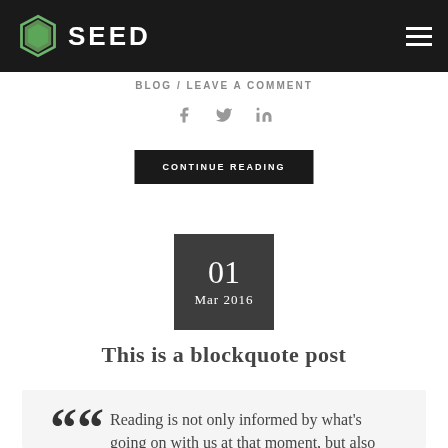SEED
BLOG / LEAVE A COMMENT
[Figure (other): Social share icons: Facebook, Twitter, LinkedIn]
CONTINUE READING
01 Mar 2016
This is a blockquote post
Reading is not only informed by what's going on with us at that moment, but also governed